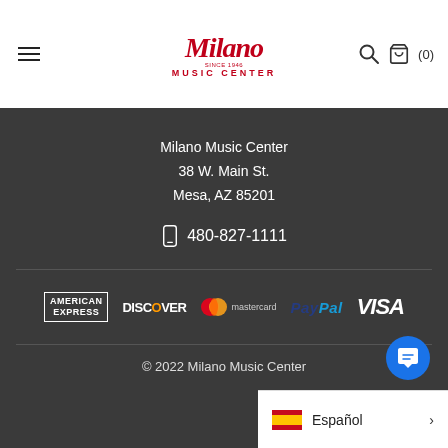Milano Music Center — navigation header with hamburger menu, logo, search and cart icons
Milano Music Center
38 W. Main St.
Mesa, AZ 85201
📱 480-827-1111
[Figure (logo): Payment logos: American Express, Discover, Mastercard, PayPal, Visa]
© 2022 Milano Music Center
Español